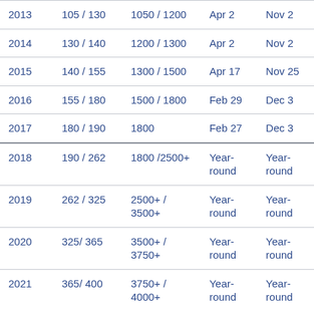| 2013 | 105 / 130 | 1050 / 1200 | Apr 2 | Nov 2 |
| 2014 | 130 / 140 | 1200 / 1300 | Apr 2 | Nov 2 |
| 2015 | 140 / 155 | 1300 / 1500 | Apr 17 | Nov 25 |
| 2016 | 155 / 180 | 1500 / 1800 | Feb 29 | Dec 3 |
| 2017 | 180 / 190 | 1800 | Feb 27 | Dec 3 |
| 2018 | 190 / 262 | 1800 /2500+ | Year-round | Year-round |
| 2019 | 262 / 325 | 2500+ / 3500+ | Year-round | Year-round |
| 2020 | 325/ 365 | 3500+ / 3750+ | Year-round | Year-round |
| 2021 | 365/ 400 | 3750+ / 4000+ | Year-round | Year-round |